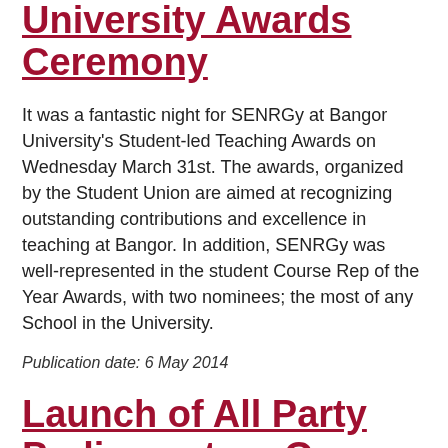University Awards Ceremony
It was a fantastic night for SENRGy at Bangor University's Student-led Teaching Awards on Wednesday March 31st. The awards, organized by the Student Union are aimed at recognizing outstanding contributions and excellence in teaching at Bangor. In addition, SENRGy was well-represented in the student Course Rep of the Year Awards, with two nominees; the most of any School in the University.
Publication date: 6 May 2014
Launch of All Party Parliamentary Group